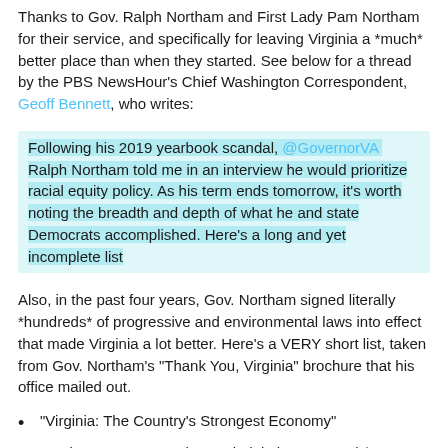Thanks to Gov. Ralph Northam and First Lady Pam Northam for their service, and specifically for leaving Virginia a *much* better place than when they started. See below for a thread by the PBS NewsHour's Chief Washington Correspondent, Geoff Bennett, who writes:
Following his 2019 yearbook scandal, @GovernorVA Ralph Northam told me in an interview he would prioritize racial equity policy. As his term ends tomorrow, it's worth noting the breadth and depth of what he and state Democrats accomplished. Here's a long and yet incomplete list
Also, in the past four years, Gov. Northam signed literally *hundreds* of progressive and environmental laws into effect that made Virginia a lot better. Here's a VERY short list, taken from Gov. Northam's "Thank You, Virginia" brochure that his office mailed out.
"Virginia: The Country's Strongest Economy"
"Under Governor Northam, Virginia has secured $80 billion in